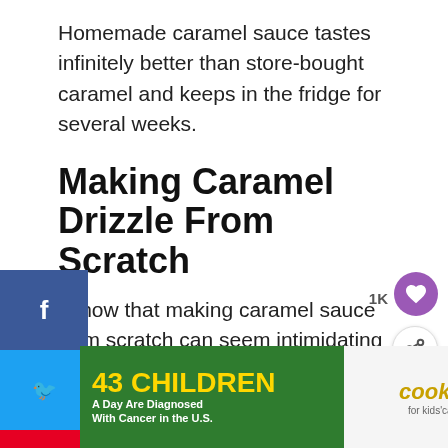Homemade caramel sauce tastes infinitely better than store-bought caramel and keeps in the fridge for several weeks.
Making Caramel Drizzle From Scratch
I know that making caramel sauce from scratch can seem intimidating if you've never tried it before. When I was a kid, I remember seeing caramel made in giant copper pots at candy stores.
[Figure (other): Advertisement banner: 43 CHILDREN A Day Are Diagnosed With Cancer in the U.S. cookies for kids cancer Let's Get Baking]